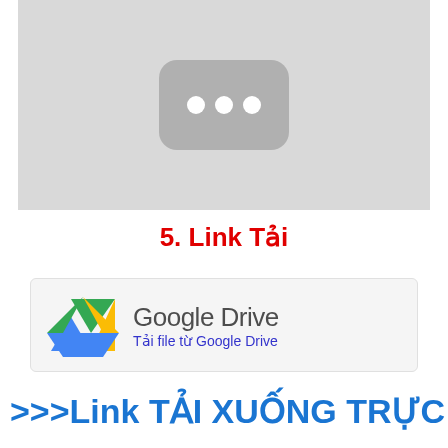[Figure (screenshot): Gray placeholder image with a rounded-rectangle YouTube-like icon containing three white dots]
5. Link Tải
[Figure (logo): Google Drive logo (triangular icon in green, yellow, blue) with text 'Google Drive' and subtitle 'Tải file từ Google Drive']
>>>Link TẢI XUỐNG TRỰC